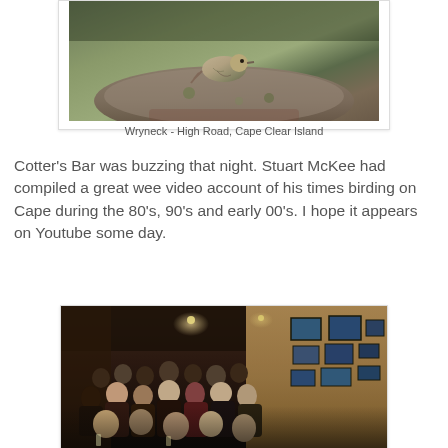[Figure (photo): A Wryneck bird perched on a rock or log on High Road, Cape Clear Island. Naturalistic outdoor wildlife photo with green and brown tones.]
Wryneck - High Road, Cape Clear Island
Cotter's Bar was buzzing that night. Stuart McKee had compiled a great wee video account of his times birding on Cape during the 80's, 90's and early 00's. I hope it appears on Youtube some day.
[Figure (photo): Interior of Cotter's Bar packed with people watching a video presentation. The pub has warm lighting, framed pictures on yellow walls, and a crowd of seated patrons.]